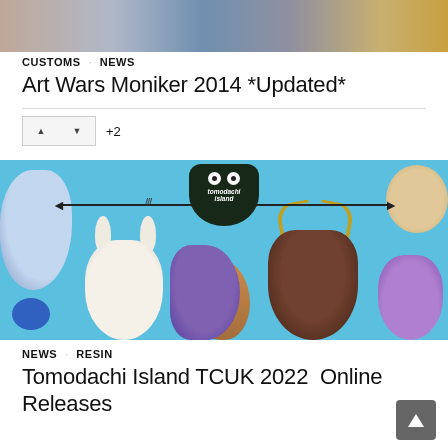[Figure (photo): Top portion of art toys/figures including colorful custom designer toys on white background]
CUSTOMS  NEWS
Art Wars Moniker 2014 *Updated*
[Figure (other): Upvote/downvote buttons with +2 count]
[Figure (photo): Tomodachi Island TCUK 2022 promotional image showing various designer resin toys on blue background with arrow graphic and Tomodachi Island logo]
NEWS  RESIN
Tomodachi Island TCUK 2022  Online Releases